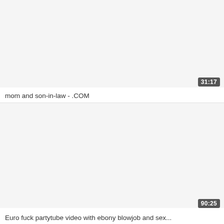[Figure (screenshot): Video thumbnail placeholder (light gray background) for a video titled 'mom and son-in-law - .COM' with duration badge '31:17' in the bottom-right corner]
mom and son-in-law - .COM
[Figure (screenshot): Video thumbnail placeholder (light gray background) for a video with duration badge '90:25' in the bottom-right corner]
Euro fuck partytube video with ebony blowjob and sex...